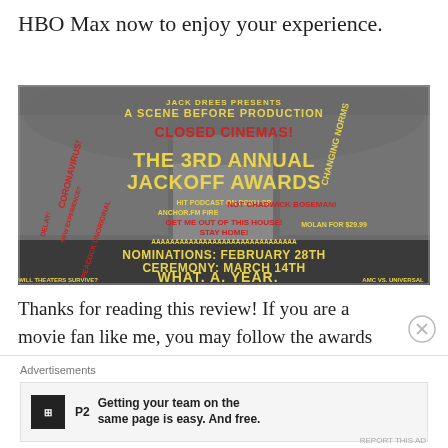HBO Max now to enjoy your experience.
[Figure (photo): Promotional image for the 3rd Annual Jackoff Awards showing a theater interior with text overlays including 'Jack Drees Presents A Scene Before Production', 'Closed Cinemas!', 'Changing Norms', 'The 3rd Annual Jackoff Awards', 'Not Chadwick Boseman!', 'Nominations: February 28th', 'Ceremony: March 14th', 'What. A. Year.', 'Will theaters survive?', 'AMC vs. Universal', 'Stay Home!', 'Get Me Out of This House!']
Thanks for reading this review! If you are a movie fan like me, you may follow the awards circuit. And now as the Movie Reviewing
Advertisements
Getting your team on the same page is easy. And free.